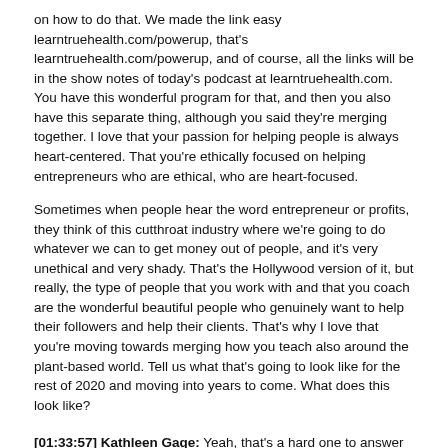on how to do that. We made the link easy learntruehealth.com/powerup, that's learntruehealth.com/powerup, and of course, all the links will be in the show notes of today's podcast at learntruehealth.com. You have this wonderful program for that, and then you also have this separate thing, although you said they're merging together. I love that your passion for helping people is always heart-centered. That you're ethically focused on helping entrepreneurs who are ethical, who are heart-focused.
Sometimes when people hear the word entrepreneur or profits, they think of this cutthroat industry where we're going to do whatever we can to get money out of people, and it's very unethical and very shady. That's the Hollywood version of it, but really, the type of people that you work with and that you coach are the wonderful beautiful people who genuinely want to help their followers and help their clients. That's why I love that you're moving towards merging how you teach also around the plant-based world. Tell us what that's going to look like for the rest of 2020 and moving into years to come. What does this look like?
[01:33:57] Kathleen Gage: Yeah, that's a hard one to answer especially in light of the fact that I am a professional speaker. A lot of how I've built my business is going out into a community and being on the platform. Well, that's on hold right now so it's looking at all the online resources available, but it's going to be the coaching, the consulting. For people who maybe want to start a business, I can consult with them. The whole issue of the money side of it,